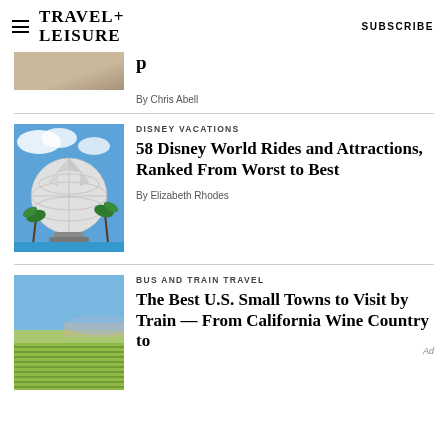TRAVEL+ LEISURE  SUBSCRIBE
[Figure (photo): Partial top of an article card showing a photo (cropped, tan/beige tones) and partial bold title text]
By Chris Abell
DISNEY VACATIONS
58 Disney World Rides and Attractions, Ranked From Worst to Best
By Elizabeth Rhodes
BUS AND TRAIN TRAVEL
The Best U.S. Small Towns to Visit by Train — From California Wine Country to
Ad